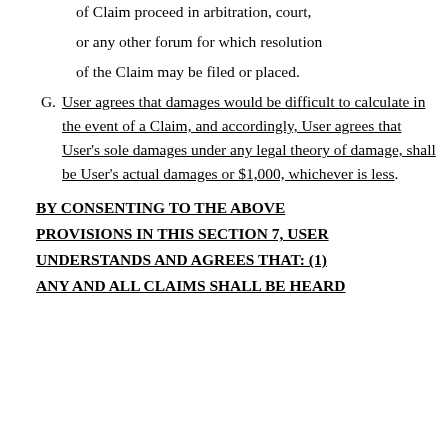of Claim proceed in arbitration, court, or any other forum for which resolution of the Claim may be filed or placed.
G. User agrees that damages would be difficult to calculate in the event of a Claim, and accordingly, User agrees that User's sole damages under any legal theory of damage, shall be User's actual damages or $1,000, whichever is less.
BY CONSENTING TO THE ABOVE PROVISIONS IN THIS SECTION 7, USER UNDERSTANDS AND AGREES THAT: (1) ANY AND ALL CLAIMS SHALL BE HEARD